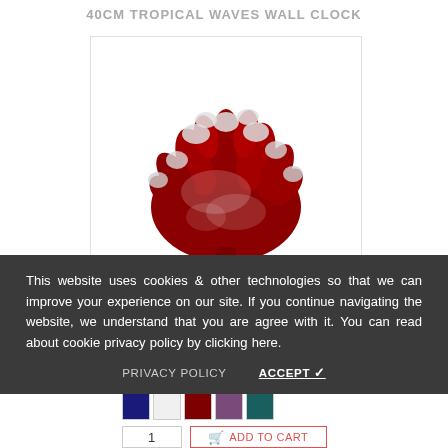40CM TROPICAL WAVES WALL CLOCK
[Figure (photo): Red and white coral piece on white background]
This website uses cookies & other technologies so that we can improve your experience on our site. If you continue navigating the website, we understand that you are agree with it. You can read about cookie privacy policy by clicking here.
€12.00
PRIVACY POLICY   ACCEPT ✓